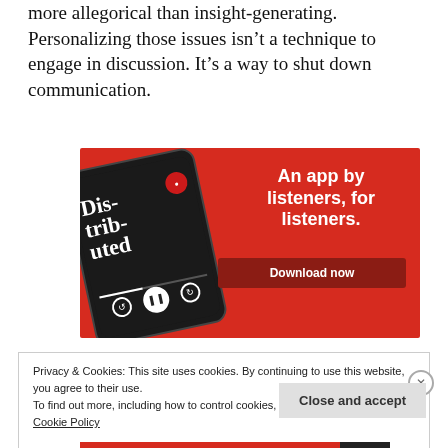more allegorical than insight-generating. Personalizing those issues isn't a technique to engage in discussion. It's a way to shut down communication.
[Figure (illustration): Advertisement for a podcast app on red background. Shows a smartphone displaying a podcast called 'Dis-trib-uted'. Text reads 'An app by listeners, for listeners.' with a 'Download now' button.]
Privacy & Cookies: This site uses cookies. By continuing to use this website, you agree to their use.
To find out more, including how to control cookies, see here:
Cookie Policy
Close and accept